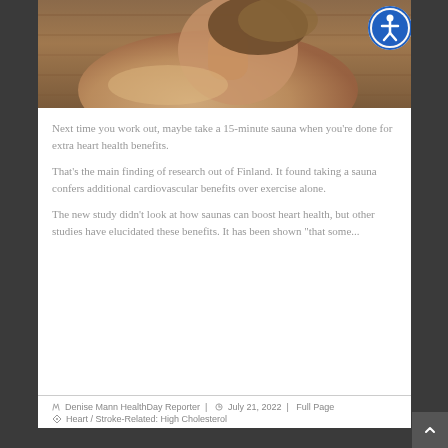[Figure (photo): Woman in a sauna, shown from shoulders up, with wooden sauna interior in background. Accessibility icon overlay in top right corner.]
Next time you work out, maybe take a 15-minute sauna when you're done for extra heart health benefits.
That's the main finding of research out of Finland. It found taking a sauna confers additional cardiovascular benefits over exercise alone.
The new study didn't look at how saunas can boost heart health, but other studies have elucidated these benefits. It has been shown "that some...
Denise Mann HealthDay Reporter  |  July 21, 2022  |  Full Page
Heart / Stroke-Related: High Cholesterol